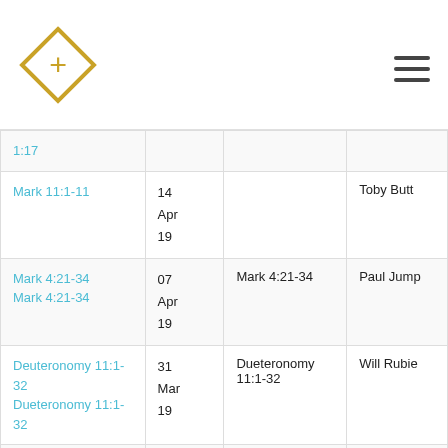Cross logo and hamburger menu
| Scripture | Date | Series | Speaker |
| --- | --- | --- | --- |
| 1:17 |  |  |  |
| Mark 11:1-11 | 14 Apr 19 |  | Toby Butt |
| Mark 4:21-34 Mark 4:21-34 | 07 Apr 19 | Mark 4:21-34 | Paul Jump |
| Deuteronomy 11:1-32 Dueteronomy 11:1-32 | 31 Mar 19 | Dueteronomy 11:1-32 | Will Rubie |
| Deuteronomy | 24 |  |  |